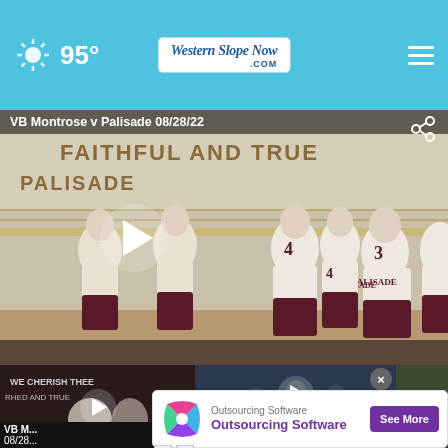95° — Western Slope Now .com
[Figure (screenshot): Volleyball game video player showing VB Montrose v Palisade 08/28/22 with play button overlay. Players in white and maroon uniforms at a volleyball net in a gymnasium.]
[Figure (screenshot): Thumbnail strip showing two video thumbnails with play buttons. A close (X) button is visible on the right thumbnail. Third partial thumbnail on far right.]
VB M... 08/28...
Fedde... prope...
[Figure (infographic): Advertisement for Outsourcing Software. Shows colorful geometric logo, text 'Outsourcing Software' (small) and 'Outsourcing Software' (large bold purple), and a purple 'See More' button. Small X and forward icons at bottom left.]